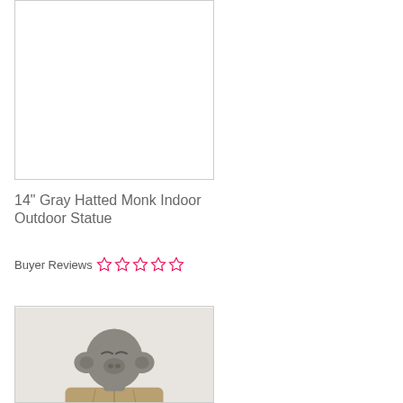[Figure (photo): Empty white product image box with light gray border for 14 inch Gray Hatted Monk Indoor Outdoor Statue]
14" Gray Hatted Monk Indoor Outdoor Statue
Buyer Reviews ☆☆☆☆☆
[Figure (photo): Gray ceramic pig monk statue wearing a brown robe, shown from the torso up, with closed eyes and a serene expression]